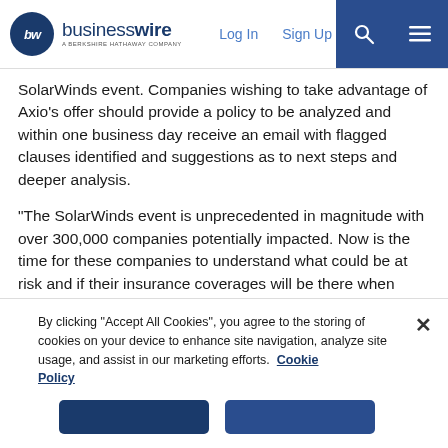businesswire — A BERKSHIRE HATHAWAY COMPANY | Log In | Sign Up
SolarWinds event. Companies wishing to take advantage of Axio's offer should provide a policy to be analyzed and within one business day receive an email with flagged clauses identified and suggestions as to next steps and deeper analysis.
“The SolarWinds event is unprecedented in magnitude with over 300,000 companies potentially impacted. Now is the time for these companies to understand what could be at risk and if their insurance coverages will be there when most needed,” added Kannry.
For more information on Axio’s limited time offering, please visit here before January 31, 2021 to have your policy analyzed.
By clicking “Accept All Cookies”, you agree to the storing of cookies on your device to enhance site navigation, analyze site usage, and assist in our marketing efforts. Cookie Policy